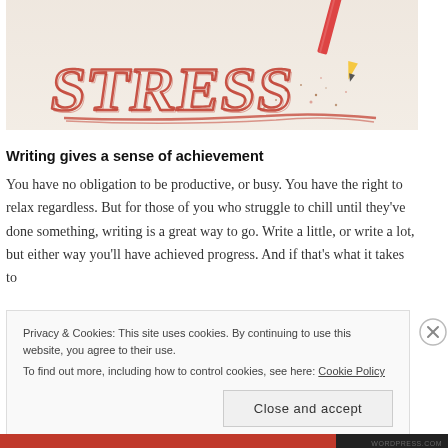[Figure (photo): A red pencil writing the word STRESS in large red letters on white paper, with pencil shavings and marks around it.]
Writing gives a sense of achievement
You have no obligation to be productive, or busy. You have the right to relax regardless. But for those of you who struggle to chill until they’ve done something, writing is a great way to go. Write a little, or write a lot, but either way you’ll have achieved progress. And if that’s what it takes to
Privacy & Cookies: This site uses cookies. By continuing to use this website, you agree to their use. To find out more, including how to control cookies, see here: Cookie Policy
Close and accept